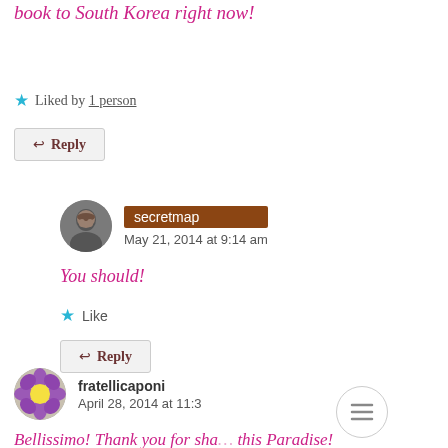book to South Korea right now!
★ Liked by 1 person
↩ Reply
secretmap
May 21, 2014 at 9:14 am
You should!
★ Like
↩ Reply
fratellicaponi
April 28, 2014 at 11:3…
Bellissimo! Thank you for sha… this Paradise!